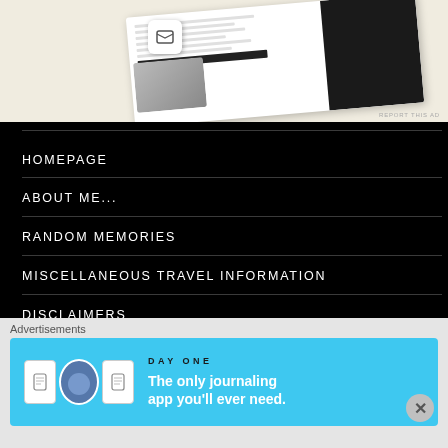[Figure (screenshot): Partial view of a website/app screenshot with a decorative mockup at top, shown on a cream/beige background with 'REPORT THIS AD' watermark]
HOMEPAGE
ABOUT ME...
RANDOM MEMORIES
MISCELLANEOUS TRAVEL INFORMATION
DISCLAIMERS
BLOGS I FOLLOW
Advertisements
[Figure (screenshot): Day One journaling app advertisement banner with blue background, app icon and avatar icons on left, text reading 'The only journaling app you'll ever need.' on right]